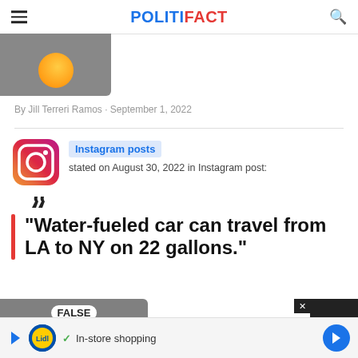POLITIFACT
[Figure (photo): Partial article thumbnail image showing a gray background with an orange circle/bubble graphic]
By Jill Terreri Ramos · September 1, 2022
Instagram posts stated on August 30, 2022 in Instagram post:
"Water-fueled car can travel from LA to NY on 22 gallons."
[Figure (photo): Fact-check meter image showing FALSE rating]
In-store shopping